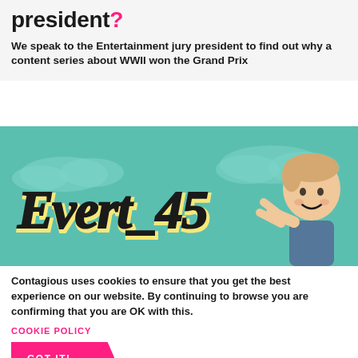president?
We speak to the Entertainment jury president to find out why a content series about WWII won the Grand Prix
[Figure (illustration): Teal-colored banner image showing 'Evert_45' in large stylized bold lettering with a smiling young boy making a peace sign, set against a teal sky with clouds.]
Contagious uses cookies to ensure that you get the best experience on our website. By continuing to browse you are confirming that you are OK with this.
COOKIE POLICY
GOT IT!